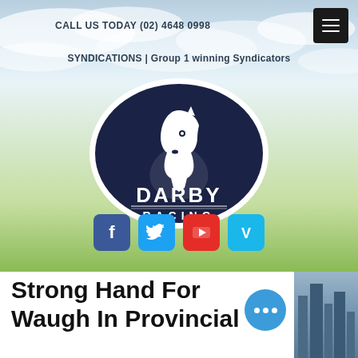CALL US TODAY (02) 4648 0998
SYNDICATIONS | Group 1 winning Syndicators
[Figure (logo): Darby Racing oval logo — dark navy blue oval with white silhouette of a horse head and text 'DARBY RACING' in white]
[Figure (infographic): Social media icons row: Facebook (blue), Twitter (light blue), YouTube (red), Vimeo (teal)]
Strong Hand For Waugh In Provincial